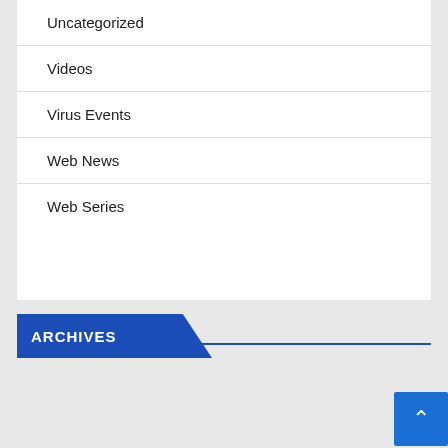Uncategorized
Videos
Virus Events
Web News
Web Series
ARCHIVES
August 2022
July 2022